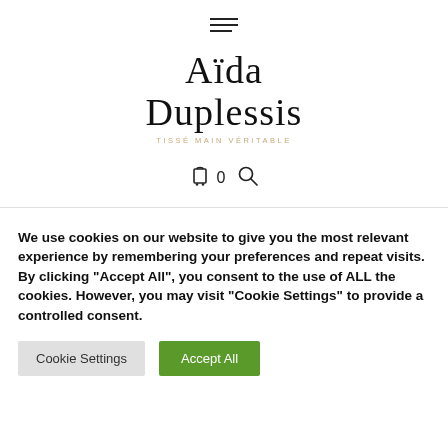[Figure (logo): Hamburger menu icon (three horizontal lines, left-aligned bottom line shorter)]
Aïda Duplessis
TISSÉ MAIN VÉRITABLE
[Figure (other): Shopping cart icon with count 0 and search magnifying glass icon]
We use cookies on our website to give you the most relevant experience by remembering your preferences and repeat visits. By clicking "Accept All", you consent to the use of ALL the cookies. However, you may visit "Cookie Settings" to provide a controlled consent.
Cookie Settings
Accept All